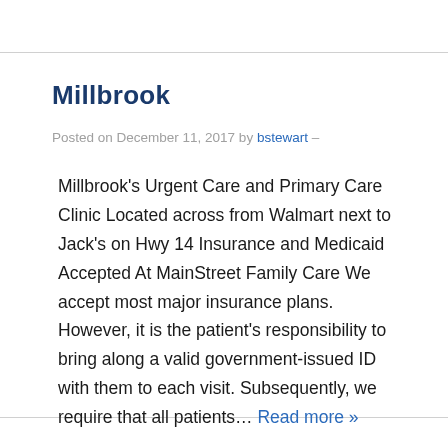Millbrook
Posted on December 11, 2017 by bstewart –
Millbrook's Urgent Care and Primary Care Clinic Located across from Walmart next to Jack's on Hwy 14 Insurance and Medicaid Accepted At MainStreet Family Care We accept most major insurance plans. However, it is the patient's responsibility to bring along a valid government-issued ID with them to each visit. Subsequently, we require that all patients… Read more »